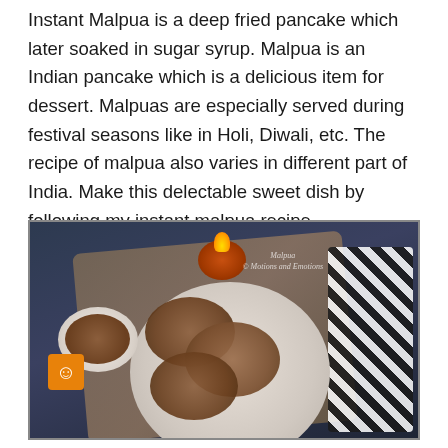Instant Malpua is a deep fried pancake which later soaked in sugar syrup. Malpua is an Indian pancake which is a delicious item for dessert. Malpuas are especially served during festival seasons like in Holi, Diwali, etc. The recipe of malpua also varies in different part of India. Make this delectable sweet dish by following my instant malpua recipe.
[Figure (photo): Overhead food photography showing a white plate with multiple malpuas (deep fried Indian pancakes) garnished with seeds, a small white bowl with a single malpua topped with cream, a lit diya (oil lamp) candle, cutlery on a black and white checkered napkin, all arranged on a burlap mat over a dark blue-gray surface. Watermark reads 'Malpua © Motions and Emotions'. An orange smiley logo badge is visible at lower left.]